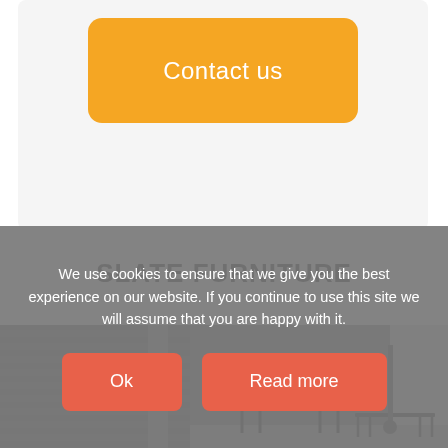[Figure (screenshot): Orange 'Contact us' button on a light grey card background]
SLATE FURNITURE
[Figure (photo): Two photos side by side showing a warehouse/workshop space with corrugated metal shutters; the right photo also shows dark metal furniture (tables) on a concrete floor]
We use cookies to ensure that we give you the best experience on our website. If you continue to use this site we will assume that you are happy with it.
Ok
Read more